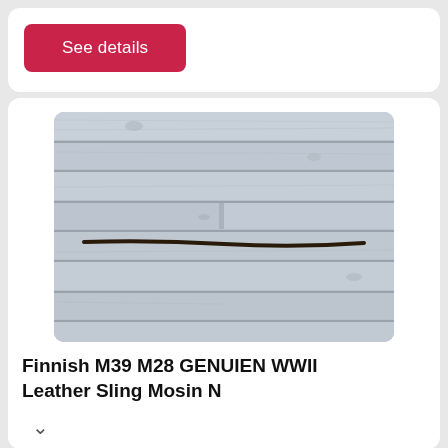See details
[Figure (photo): Photo of a Finnish M39 M28 WWII leather sling for Mosin Nagant rifle, laid against a weathered grey wooden plank background]
Finnish M39 M28 GENUIEN WWII Leather Sling Mosin N
[Figure (infographic): Advertisement for Urgent Care Marketing by GMR Web Team with Contact Us button]
Urgent Care Marketing
Urgent Care Marketing to Improve Patient Acquisition Rate. No Contracts, Just Improved ROI GMR Web Team
Contact Us